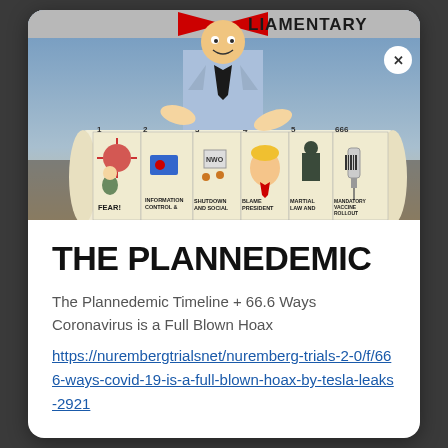[Figure (illustration): A political cartoon showing a suited figure pointing at a scroll with numbered steps labeled: 1 FEAR!, 2 INFORMATION CONTROL &, 3 SHUTDOWN AND SOCIAL, 4 BLAME PRESIDENT, 5 MARTIAL LAW AND, 666 MANDATORY VACCINE ROLLOUT. Partial text at top reads 'LIAMENTARY'. A close button (X) is in the upper right corner.]
THE PLANNEDEMIC
The Plannedemic Timeline + 66.6 Ways Coronavirus is a Full Blown Hoax
https://nurembergtrialsnet/nuremberg-trials-2-0/f/666-ways-covid-19-is-a-full-blown-hoax-by-tesla-leaks-2921